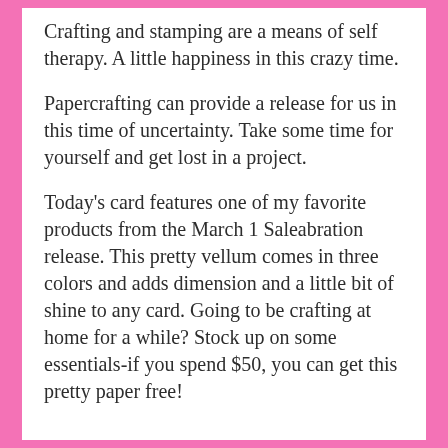Crafting and stamping are a means of self therapy. A little happiness in this crazy time.
Papercrafting can provide a release for us in this time of uncertainty. Take some time for yourself and get lost in a project.
Today’s card features one of my favorite products from the March 1 Saleabration release. This pretty vellum comes in three colors and adds dimension and a little bit of shine to any card. Going to be crafting at home for a while? Stock up on some essentials-if you spend $50, you can get this pretty paper free!